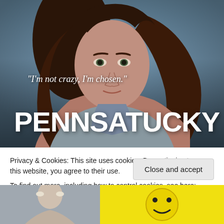[Figure (photo): Promotional poster image of a young woman with dark hair wearing a grey hoodie, looking intensely at the camera. Blue-grey background. White italic quote text reads: "I'm not crazy, I'm chosen." Large bold white text at bottom reads: PENNSATUCKY]
Privacy & Cookies: This site uses cookies. By continuing to use this website, you agree to their use.
To find out more, including how to control cookies, see here: Cookie Policy
Close and accept
[Figure (photo): Partial thumbnail image at bottom left, appears to be a person with light hair]
[Figure (illustration): Partial yellow cartoon/illustration image at bottom right]